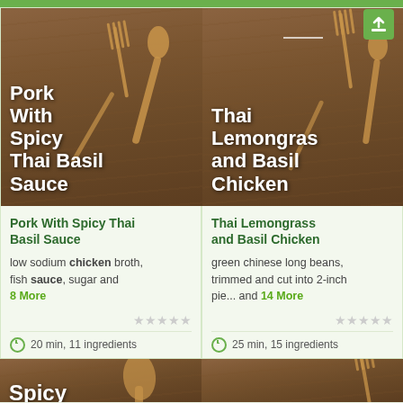[Figure (screenshot): Recipe card for Pork With Spicy Thai Basil Sauce showing wooden background with utensils]
Pork With Spicy Thai Basil Sauce
Pork With Spicy Thai Basil Sauce
low sodium chicken broth, fish sauce, sugar and 8 More
20 min, 11 ingredients
[Figure (screenshot): Recipe card for Thai Lemongrass and Basil Chicken showing wooden background with utensils]
Thai Lemongrass and Basil Chicken
Thai Lemongrass and Basil Chicken
green chinese long beans, trimmed and cut into 2-inch pie... and 14 More
25 min, 15 ingredients
[Figure (photo): Partial wooden background with utensils and partial text 'Spicy']